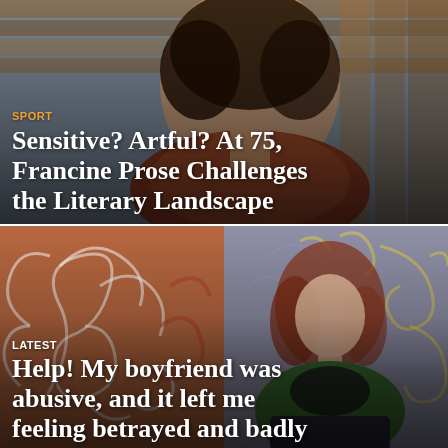[Figure (photo): Portrait photo of a young person with dark curly hair, wearing a brown/rust hoodie, photographed against a wooden background with warm lighting]
SPORT
Sensitive? Artful? At 75, Francine Prose Challenges the Literary Landscape
[Figure (photo): Left half shows decorative swirl/floral pattern in terracotta/brown tones; right half shows a woman with red/auburn hair wearing a green blazer, seated against a decorative wall with yellow and blue floral patterns]
LATEST
Help! My boyfriend was abusive, and it left me feeling betrayed and badly